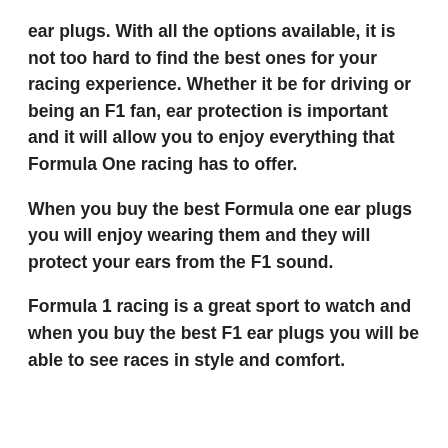ear plugs. With all the options available, it is not too hard to find the best ones for your racing experience. Whether it be for driving or being an F1 fan, ear protection is important and it will allow you to enjoy everything that Formula One racing has to offer.
When you buy the best Formula one ear plugs you will enjoy wearing them and they will protect your ears from the F1 sound.
Formula 1 racing is a great sport to watch and when you buy the best F1 ear plugs you will be able to see races in style and comfort.